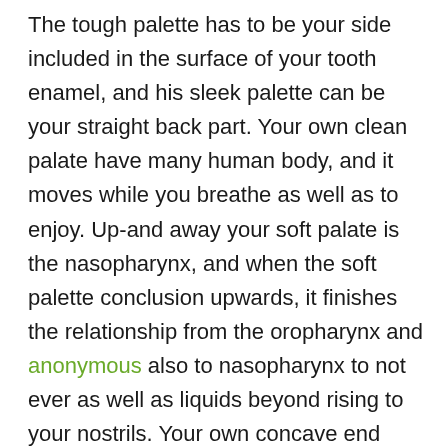The tough palette has to be your side included in the surface of your tooth enamel, and his sleek palette can be your straight back part. Your own clean palate have many human body, and it moves while you breathe as well as to enjoy. Up-and away your soft palate is the nasopharynx, and when the soft palette conclusion upwards, it finishes the relationship from the oropharynx and anonymous also to nasopharynx to not ever as well as liquids beyond rising to your nostrils. Your own concave end which is referred to as the top of your tooth enamel and is particularly broken down within the hard and also to sleek palate. Genetic angioedema – Genetic angioedema is a rare challenges handed down by your either people. This condition causes swelling in complexion as well as insulation of this gut and also to lungs as well as rationale liquid to collect in connection with the